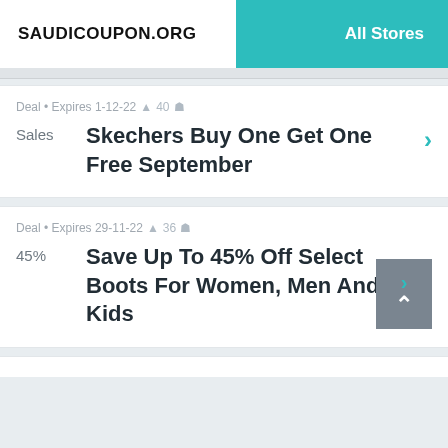SAUDICOUPON.ORG   All Stores
Deal • Expires 1-12-22 🔔 40 👤
Sales
Skechers Buy One Get One Free September
Deal • Expires 29-11-22 🔔 36 👤
45%
Save Up To 45% Off Select Boots For Women, Men And Kids